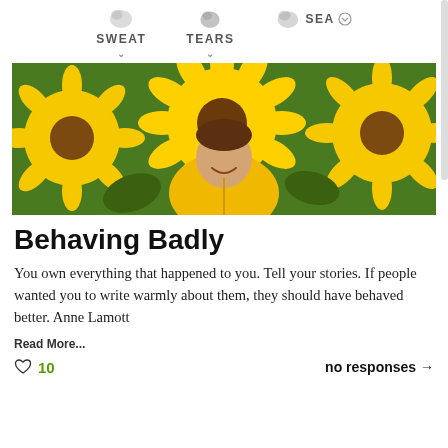SWEAT   TEARS   SEA
[Figure (photo): Person smiling among large yellow sunflowers, wearing a yellow jacket. Bright outdoor photo with sunflowers filling the frame.]
Behaving Badly
You own everything that happened to you. Tell your stories. If people wanted you to write warmly about them, they should have behaved better. Anne Lamott
Read More...
♡ 10     no responses →